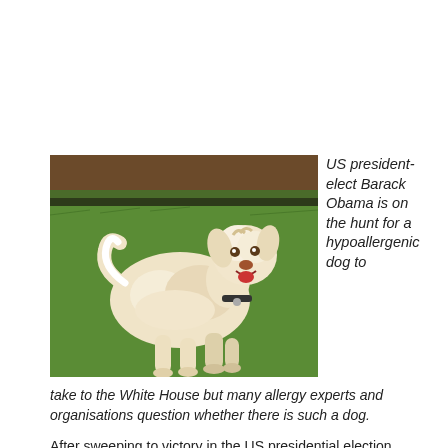[Figure (photo): A fluffy cream/white dog (labradoodle) standing on green grass with a mulch garden bed in the background. The dog is facing right with tail up and mouth open.]
US president-elect Barack Obama is on the hunt for a hypoallergenic dog to take to the White House but many allergy experts and organisations question whether there is such a dog.
After sweeping to victory in the US presidential election Barack Obama announced that he and his family were on